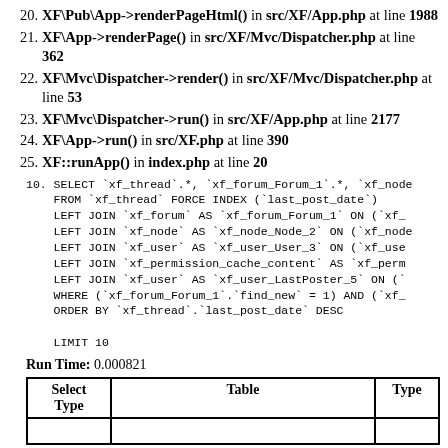20. XF\Pub\App->renderPageHtml() in src/XF/App.php at line 1988
21. XF\App->renderPage() in src/XF/Mvc/Dispatcher.php at line 362
22. XF\Mvc\Dispatcher->render() in src/XF/Mvc/Dispatcher.php at line 53
23. XF\Mvc\Dispatcher->run() in src/XF/App.php at line 2177
24. XF\App->run() in src/XF.php at line 390
25. XF::runApp() in index.php at line 20
10. SELECT `xf_thread`.*, `xf_forum_Forum_1`.*, `xf_node...\n    FROM `xf_thread` FORCE INDEX (`last_post_date`)\n    LEFT JOIN `xf_forum` AS `xf_forum_Forum_1` ON (`xf_...\n    LEFT JOIN `xf_node` AS `xf_node_Node_2` ON (`xf_node...\n    LEFT JOIN `xf_user` AS `xf_user_User_3` ON (`xf_user...\n    LEFT JOIN `xf_permission_cache_content` AS `xf_perm...\n    LEFT JOIN `xf_user` AS `xf_user_LastPoster_5` ON (`...\n    WHERE (`xf_forum_Forum_1`.`find_new` = 1) AND (`xf_...\n    ORDER BY `xf_thread`.`last_post_date` DESC\n\n    LIMIT 10
Run Time: 0.000821
| Select Type | Table | Type |
| --- | --- | --- |
|  |  |  |